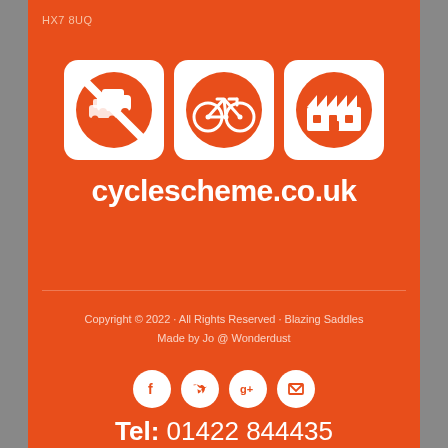HX7 8UQ
[Figure (logo): Cyclescheme logo with three icons (no cars, bicycle, factory building) and text cyclescheme.co.uk on orange background]
Copyright © 2022 · All Rights Reserved · Blazing Saddles
Made by Jo @ Wonderdust
[Figure (infographic): Four social media icon buttons (Facebook, Twitter, Google+, Email) as white circles on orange background]
Tel: 01422 844435